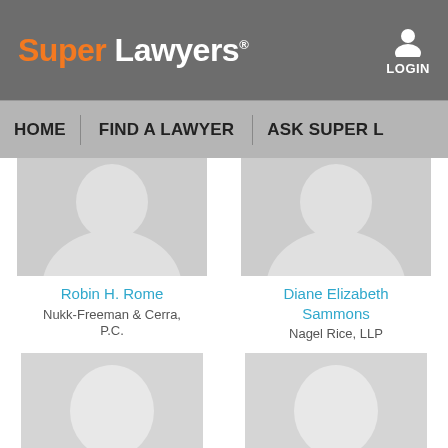Super Lawyers LOGIN
HOME  FIND A LAWYER  ASK SUPER L...
[Figure (photo): Placeholder silhouette photo for Robin H. Rome]
Robin H. Rome
Nukk-Freeman & Cerra, P.C.
[Figure (photo): Placeholder silhouette photo for Diane Elizabeth Sammons]
Diane Elizabeth Sammons
Nagel Rice, LLP
[Figure (photo): Placeholder silhouette photo (bottom left)]
[Figure (photo): Placeholder silhouette photo (bottom right)]